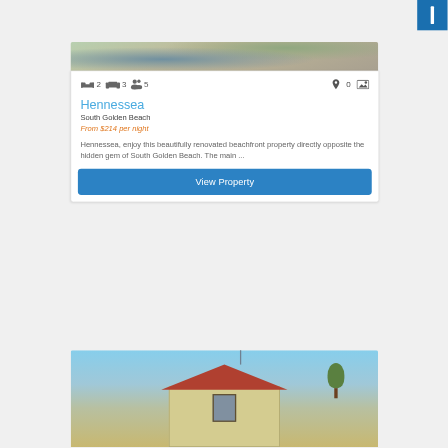[Figure (photo): Top blue UI button with white vertical bar icon]
[Figure (photo): Cropped outdoor/beach photo at top of property card]
2  3  5  0
Hennessea
South Golden Beach
From $214 per night
Hennessea, enjoy this beautifully renovated beachfront property directly opposite the hidden gem of South Golden Beach. The main ...
View Property
[Figure (photo): Bottom property photo showing a house with red roof under blue sky]